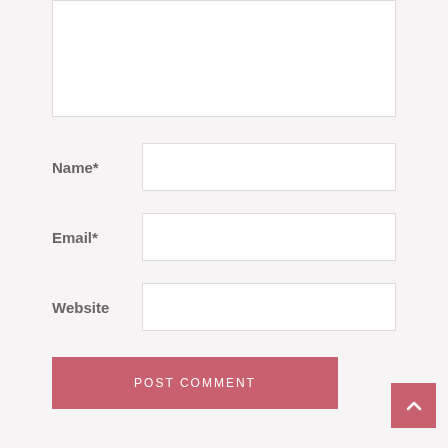[Figure (screenshot): Comment form with textarea, Name, Email, Website fields, POST COMMENT button, and back-to-top button]
Name*
Email*
Website
POST COMMENT